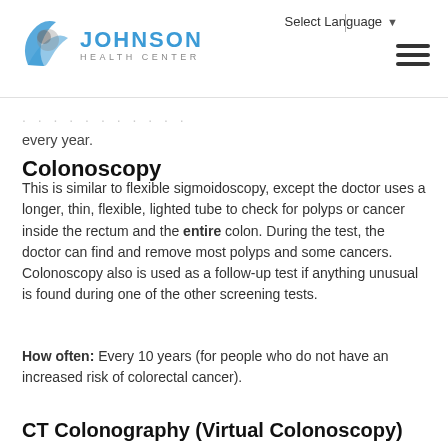Johnson Health Center — Select Language
every year.
Colonoscopy
This is similar to flexible sigmoidoscopy, except the doctor uses a longer, thin, flexible, lighted tube to check for polyps or cancer inside the rectum and the entire colon. During the test, the doctor can find and remove most polyps and some cancers. Colonoscopy also is used as a follow-up test if anything unusual is found during one of the other screening tests.
How often: Every 10 years (for people who do not have an increased risk of colorectal cancer).
CT Colonography (Virtual Colonoscopy)